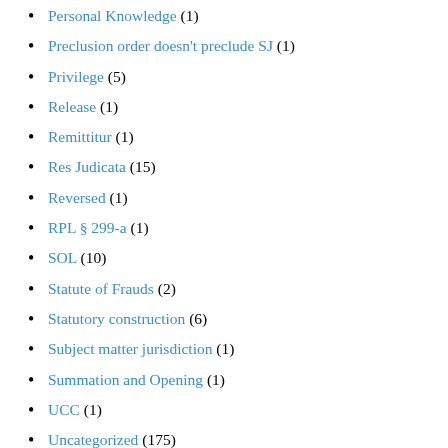Personal Knowledge (1)
Preclusion order doesn't preclude SJ (1)
Privilege (5)
Release (1)
Remittitur (1)
Res Judicata (15)
Reversed (1)
RPL § 299-a (1)
SOL (10)
Statute of Frauds (2)
Statutory construction (6)
Subject matter jurisdiction (1)
Summation and Opening (1)
UCC (1)
Uncategorized (175)
Unjust Enrichment (1)
W... (2)